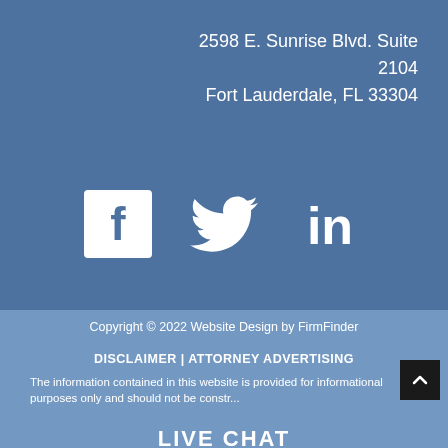2598 E. Sunrise Blvd. Suite 2104
Fort Lauderdale, FL 33304
[Figure (illustration): Social media icons: Facebook square icon, Twitter bird icon, LinkedIn 'in' icon — all white on blue background]
Copyright © 2022 Website Design by FirmFinder
DISCLAIMER | ATTORNEY ADVERTISING
The information contained in this website is provided for informational purposes only and should not be constr...
LIVE CHAT